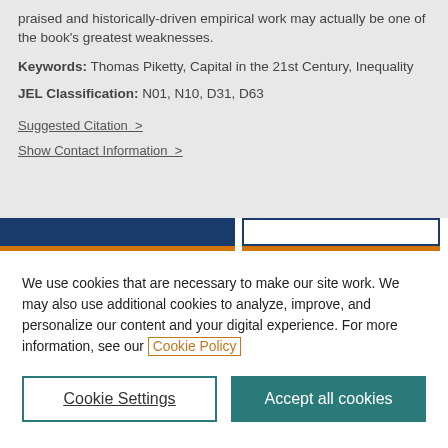praised and historically-driven empirical work may actually be one of the book's greatest weaknesses.
Keywords: Thomas Piketty, Capital in the 21st Century, Inequality
JEL Classification: N01, N10, D31, D63
Suggested Citation >
Show Contact Information >
We use cookies that are necessary to make our site work. We may also use additional cookies to analyze, improve, and personalize our content and your digital experience. For more information, see our Cookie Policy
Cookie Settings
Accept all cookies